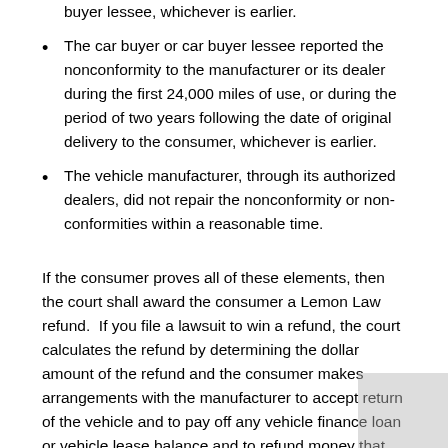buyer lessee, whichever is earlier.
The car buyer or car buyer lessee reported the nonconformity to the manufacturer or its dealer during the first 24,000 miles of use, or during the period of two years following the date of original delivery to the consumer, whichever is earlier.
The vehicle manufacturer, through its authorized dealers, did not repair the nonconformity or non-conformities within a reasonable time.
If the consumer proves all of these elements, then the court shall award the consumer a Lemon Law refund.  If you file a lawsuit to win a refund, the court calculates the refund by determining the dollar amount of the refund and the consumer makes arrangements with the manufacturer to accept return of the vehicle and to pay off any vehicle finance loan or vehicle lease balance and to refund money that the